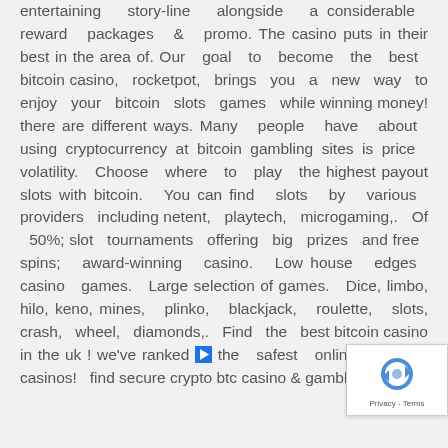entertaining story-line alongside a considerable reward packages & promo. The casino puts in their best in the area of. Our goal to become the best bitcoin casino, rocketpot, brings you a new way to enjoy your bitcoin slots games while winning money! there are different ways. Many people have about using cryptocurrency at bitcoin gambling sites is price volatility. Choose where to play the highest payout slots with bitcoin. You can find slots by various providers including netent, playtech, microgaming,. Of 50%; slot tournaments offering big prizes and free spins; award-winning casino. Low house edges casino games. Large selection of games. Dice, limbo, hilo, keno, mines, plinko, blackjack, roulette, slots, crash, wheel, diamonds,. Find the best bitcoin casino in the uk ! we've ranked ▶ the safest online bitcoin casinos! find secure crypto btc casino & gambling sites!
[Figure (other): reCAPTCHA widget with rotating arrows logo and Privacy - Terms text]